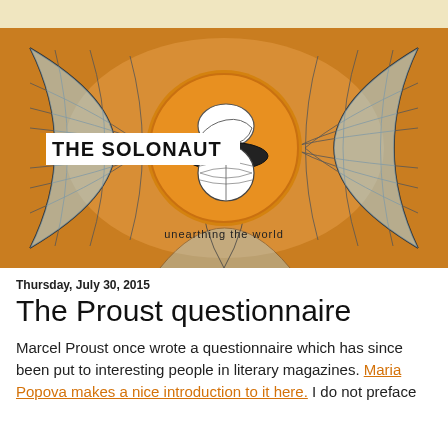[Figure (logo): The Solonaut blog banner with world globe graphic and circular logo showing a hat, with text 'THE SOLONAUT' and 'unearthing the world' on an orange background]
Thursday, July 30, 2015
The Proust questionnaire
Marcel Proust once wrote a questionnaire which has since been put to interesting people in literary magazines. Maria Popova makes a nice introduction to it here. I do not preface